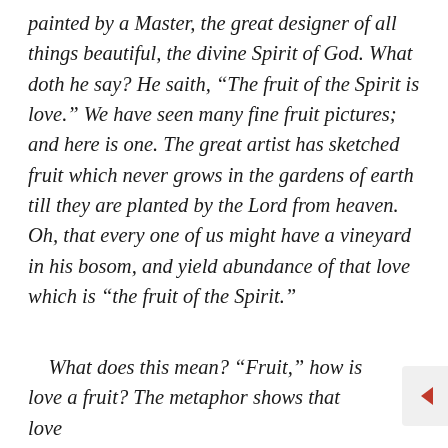painted by a Master, the great designer of all things beautiful, the divine Spirit of God. What doth he say? He saith, “The fruit of the Spirit is love.” We have seen many fine fruit pictures; and here is one. The great artist has sketched fruit which never grows in the gardens of earth till they are planted by the Lord from heaven. Oh, that every one of us might have a vineyard in his bosom, and yield abundance of that love which is “the fruit of the Spirit.”
What does this mean? “Fruit,” how is love a fruit? The metaphor shows that love